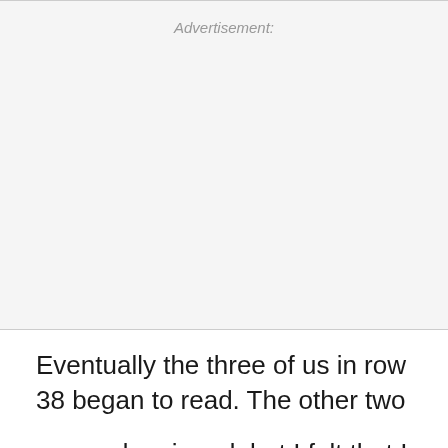[Figure (other): Advertisement placeholder box with light gray background and 'Advertisement:' label at top center]
Eventually the three of us in row 38 began to read. The other two
seemed resigned, but I felt that I was not remotely well